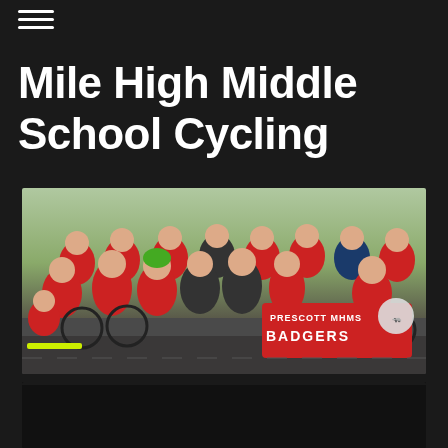≡ (hamburger menu icon)
Mile High Middle School Cycling
[Figure (photo): Group photo of middle school mountain bike team (Prescott MHMS Badgers) posing with bikes and a red banner reading PRESCOTT MHMS BADGERS, wearing red/white/black jerseys and helmets]
[Figure (photo): Partially visible second photo at bottom of page, mostly dark/black]